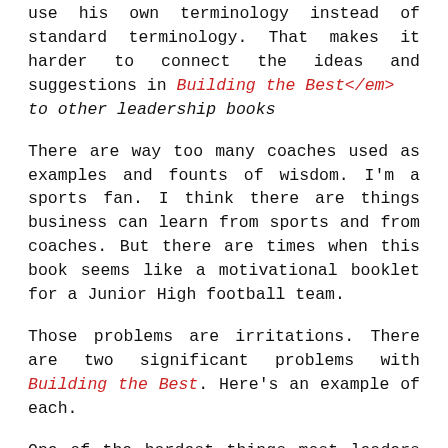use his own terminology instead of standard terminology. That makes it harder to connect the ideas and suggestions in Building the Best</em> to other leadership books
There are way too many coaches used as examples and founts of wisdom. I'm a sports fan. I think there are things business can learn from sports and from coaches. But there are times when this book seems like a motivational booklet for a Junior High football team.
Those problems are irritations. There are two significant problems with Building the Best. Here's an example of each.
One of the hardest things most leaders must do is talk to team members about behavior or performance. Fades devotes several pages to